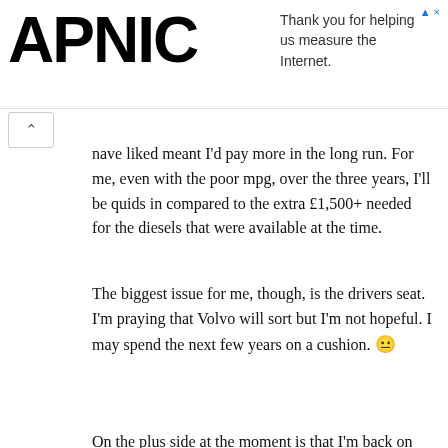[Figure (logo): APNIC logo with ad text: Thank you for helping us measure the Internet.]
have liked meant I'd pay more in the long run. For me, even with the poor mpg, over the three years, I'll be quids in compared to the extra £1,500+ needed for the diesels that were available at the time.
The biggest issue for me, though, is the drivers seat. I'm praying that Volvo will sort but I'm not hopeful. I may spend the next few years on a cushion. 😐
On the plus side at the moment is that I'm back on heated seats. God, I've missed them. They really help. More than I realised now. And the entry/exit is perfect.
🏎 I will be remembered for nothing but had great fun doing it 🏎
February 15, 2021 at 5:50 pm REPLY #140000
Brydo